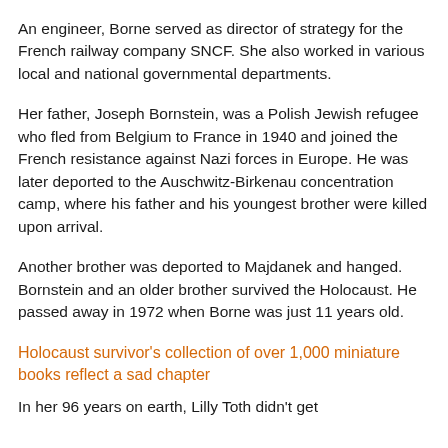An engineer, Borne served as director of strategy for the French railway company SNCF. She also worked in various local and national governmental departments.
Her father, Joseph Bornstein, was a Polish Jewish refugee who fled from Belgium to France in 1940 and joined the French resistance against Nazi forces in Europe. He was later deported to the Auschwitz-Birkenau concentration camp, where his father and his youngest brother were killed upon arrival.
Another brother was deported to Majdanek and hanged. Bornstein and an older brother survived the Holocaust. He passed away in 1972 when Borne was just 11 years old.
Holocaust survivor's collection of over 1,000 miniature books reflect a sad chapter
In her 96 years on earth, Lilly Toth didn't get...